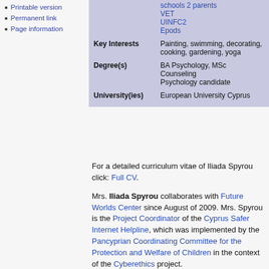Printable version
Permanent link
Page information
| Key Interests | Painting, swimming, decorating, cooking, gardening, yoga |
| Degree(s) | BA Psychology, MSc Counseling Psychology candidate |
| University(ies) | European University Cyprus |
For a detailed curriculum vitae of Iliada Spyrou click: Full CV.
Mrs. Iliada Spyrou collaborates with Future Worlds Center since August of 2009. Mrs. Spyrou is the Project Coordinator of the Cyprus Safer Internet Helpline, which was implemented by the Pancyprian Coordinating Committee for the Protection and Welfare of Children in the context of the Cyberethics project.